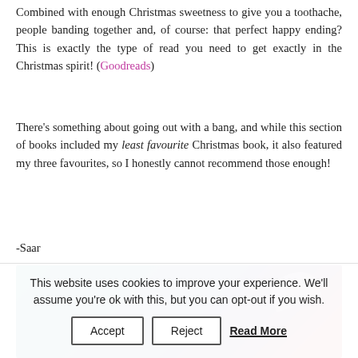Combined with enough Christmas sweetness to give you a toothache, people banding together and, of course: that perfect happy ending? This is exactly the type of read you need to get exactly in the Christmas spirit! (Goodreads)
There's something about going out with a bang, and while this section of books included my least favourite Christmas book, it also featured my three favourites, so I honestly cannot recommend those enough!
-Saar
[Figure (photo): Partial photo with dark teal, purple, and red tones, likely a book cover or decorative image]
This website uses cookies to improve your experience. We'll assume you're ok with this, but you can opt-out if you wish. Accept Reject Read More